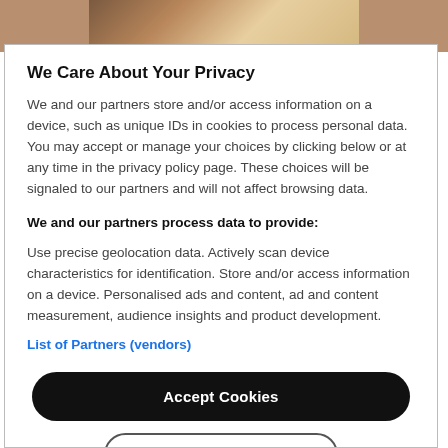[Figure (photo): Partial photo strip at top showing hands/phone on warm brown background]
We Care About Your Privacy
We and our partners store and/or access information on a device, such as unique IDs in cookies to process personal data. You may accept or manage your choices by clicking below or at any time in the privacy policy page. These choices will be signaled to our partners and will not affect browsing data.
We and our partners process data to provide:
Use precise geolocation data. Actively scan device characteristics for identification. Store and/or access information on a device. Personalised ads and content, ad and content measurement, audience insights and product development.
List of Partners (vendors)
Accept Cookies
Show Purposes